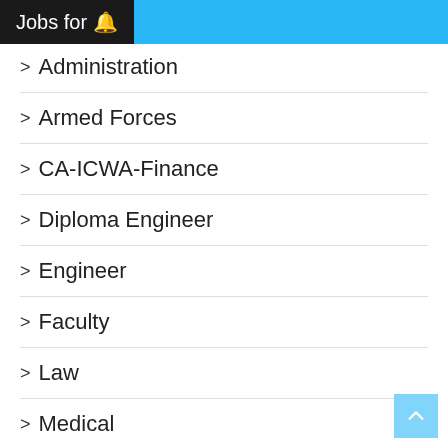Jobs for 🔔
> Administration
> Armed Forces
> CA-ICWA-Finance
> Diploma Engineer
> Engineer
> Faculty
> Law
> Medical
> Officer
> Teacher
> Te...